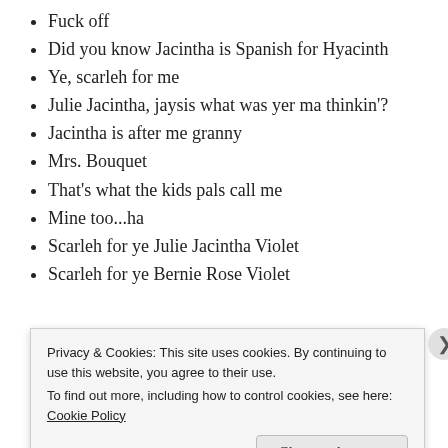Fuck off
Did you know Jacintha is Spanish for Hyacinth
Ye, scarleh for me
Julie Jacintha, jaysis what was yer ma thinkin'?
Jacintha is after me granny
Mrs. Bouquet
That's what the kids pals call me
Mine too...ha
Scarleh for ye Julie Jacintha Violet
Scarleh for ye Bernie Rose Violet
[Figure (photo): Partial red background image visible behind cookie consent banner]
Privacy & Cookies: This site uses cookies. By continuing to use this website, you agree to their use. To find out more, including how to control cookies, see here: Cookie Policy
Close and accept